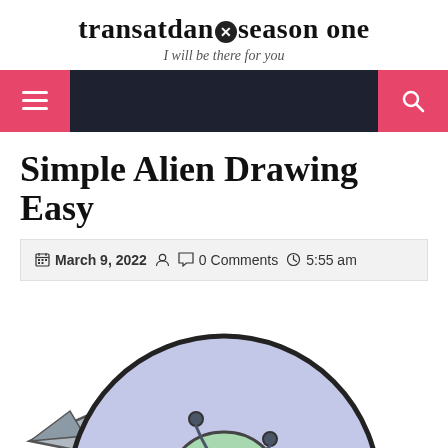transatdans⊗season one — I will be there for you
[Figure (screenshot): Navigation bar with pink hamburger menu button on left and pink search button on right, dark navy background]
Simple Alien Drawing Easy
📅 March 9, 2022  👤  💬 0 Comments  🕐 5:55 am
[Figure (illustration): Cartoon alien illustration with light purple circular head, green face with X eyes, antennae, and metallic spaceship elements visible at bottom]